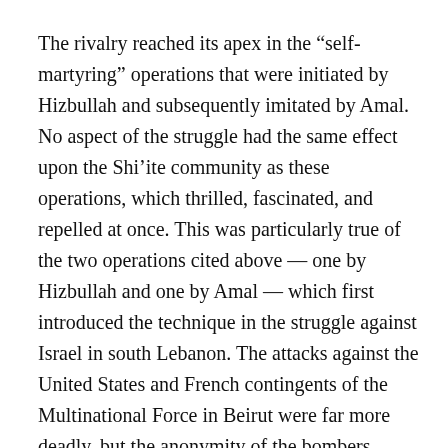The rivalry reached its apex in the “self-martyring” operations that were initiated by Hizbullah and subsequently imitated by Amal. No aspect of the struggle had the same effect upon the Shi’ite community as these operations, which thrilled, fascinated, and repelled at once. This was particularly true of the two operations cited above — one by Hizbullah and one by Amal — which first introduced the technique in the struggle against Israel in south Lebanon. The attacks against the United States and French contingents of the Multinational Force in Beirut were far more deadly, but the anonymity of the bombers, preserved to this day, established a distance between the community and the acts. But the poster